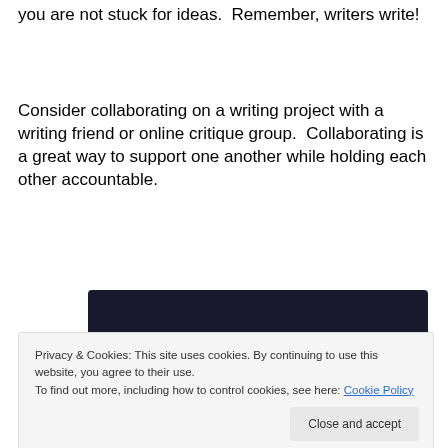you are not stuck for ideas.  Remember, writers write!
Consider collaborating on a writing project with a writing friend or online critique group.  Collaborating is a great way to support one another while holding each other accountable.
[Figure (screenshot): Dark banner with a teal 'Learn More' button]
Privacy & Cookies: This site uses cookies. By continuing to use this website, you agree to their use.
To find out more, including how to control cookies, see here: Cookie Policy
Close and accept